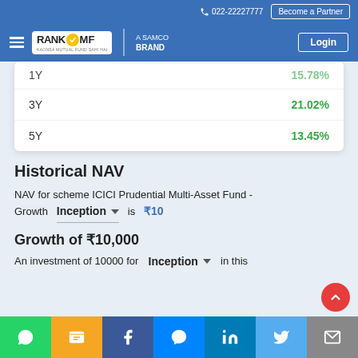022-22227777  Become a Partner
[Figure (logo): RankMF - A Samco Brand logo with Login button]
| Period | Return |
| --- | --- |
| 1Y | 15.78% |
| 3Y | 21.02% |
| 5Y | 13.45% |
Historical NAV
NAV for scheme ICICI Prudential Multi-Asset Fund - Growth  Inception ▼ is ₹10
Growth of ₹10,000
An investment of 10000 for  Inception ▼  in this